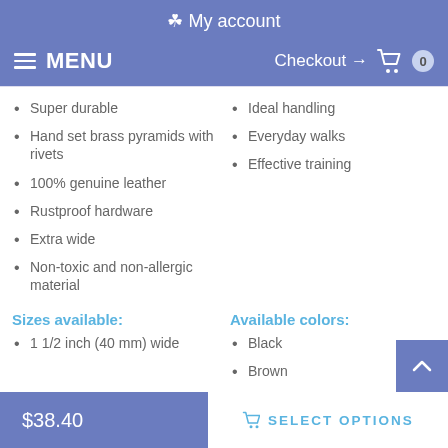My account
MENU  Checkout → 0
Super durable
Hand set brass pyramids with rivets
100% genuine leather
Rustproof hardware
Extra wide
Non-toxic and non-allergic material
Ideal handling
Everyday walks
Effective training
Sizes available:
Available colors:
1 1/2 inch (40 mm) wide
Black
Brown
Tan
$38.40
SELECT OPTIONS